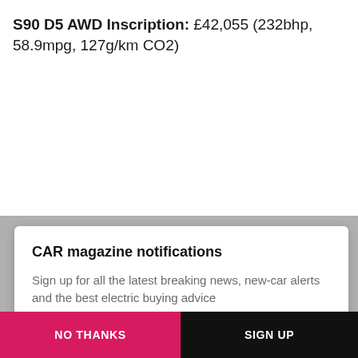S90 D5 AWD Inscription: £42,055 (232bhp, 58.9mpg, 127g/km CO2)
CAR magazine notifications
Sign up for all the latest breaking news, new-car alerts and the best electric buying advice